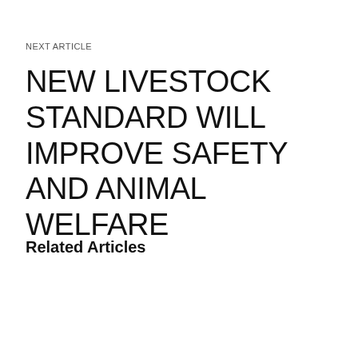NEXT ARTICLE
NEW LIVESTOCK STANDARD WILL IMPROVE SAFETY AND ANIMAL WELFARE
Related Articles